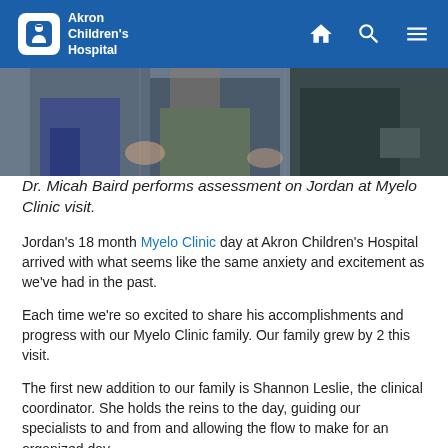Akron Children's Hospital
[Figure (photo): Photo of Dr. Micah Baird performing a physical assessment on Jordan at a Myelo Clinic visit, showing people seated in a clinical setting.]
Dr. Micah Baird performs assessment on Jordan at Myelo Clinic visit.
Jordan's 18 month Myelo Clinic day at Akron Children's Hospital arrived with what seems like the same anxiety and excitement as we've had in the past.
Each time we're so excited to share his accomplishments and progress with our Myelo Clinic family. Our family grew by 2 this visit.
The first new addition to our family is Shannon Leslie, the clinical coordinator. She holds the reins to the day, guiding our specialists to and from and allowing the flow to make for an organized day.
This was our first clinic with her guidance and she made for a smooth day getting each specialist in with ease. Cindy, a previous